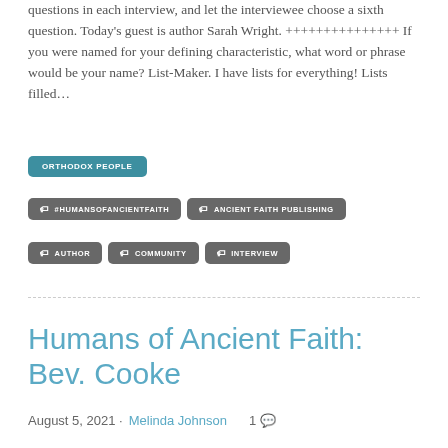questions in each interview, and let the interviewee choose a sixth question. Today's guest is author Sarah Wright. +++++++++++++++ If you were named for your defining characteristic, what word or phrase would be your name? List-Maker. I have lists for everything! Lists filled…
ORTHODOX PEOPLE
#HUMANSOFANCIENTFAITH
ANCIENT FAITH PUBLISHING
AUTHOR
COMMUNITY
INTERVIEW
Humans of Ancient Faith: Bev. Cooke
August 5, 2021 · Melinda Johnson    1 💬